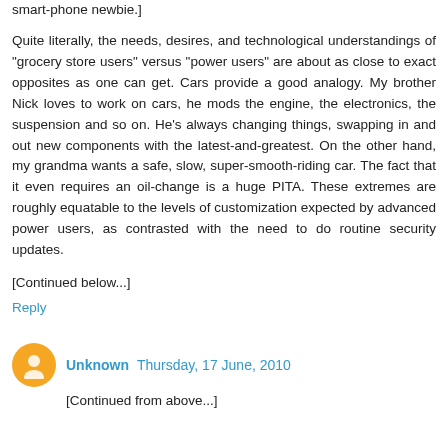smart-phone newbie.]
Quite literally, the needs, desires, and technological understandings of "grocery store users" versus "power users" are about as close to exact opposites as one can get. Cars provide a good analogy. My brother Nick loves to work on cars, he mods the engine, the electronics, the suspension and so on. He's always changing things, swapping in and out new components with the latest-and-greatest. On the other hand, my grandma wants a safe, slow, super-smooth-riding car. The fact that it even requires an oil-change is a huge PITA. These extremes are roughly equatable to the levels of customization expected by advanced power users, as contrasted with the need to do routine security updates.
[Continued below...]
Reply
Unknown  Thursday, 17 June, 2010
[Continued from above...]